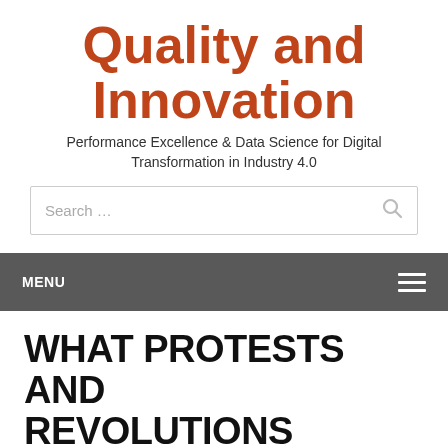Quality and Innovation
Performance Excellence & Data Science for Digital Transformation in Industry 4.0
Search ...
MENU
WHAT PROTESTS AND REVOLUTIONS REVEAL